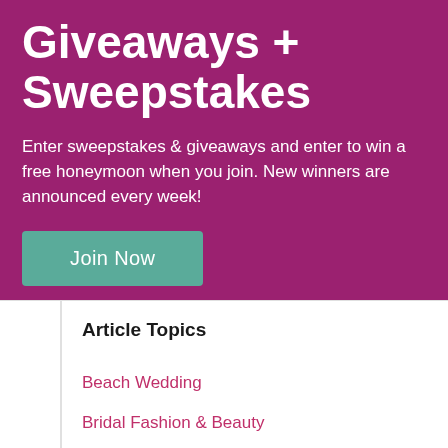Giveaways + Sweepstakes
Enter sweepstakes & giveaways and enter to win a free honeymoon when you join. New winners are announced every week!
Join Now
Article Topics
Beach Wedding
Bridal Fashion & Beauty